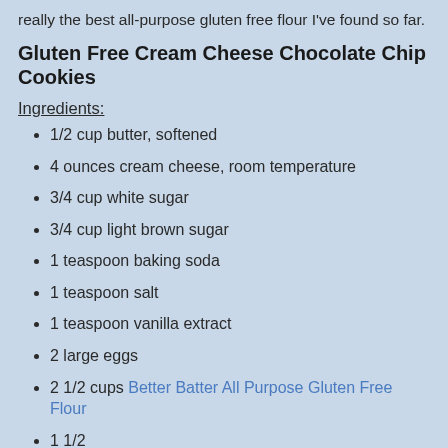really the best all-purpose gluten free flour I've found so far.
Gluten Free Cream Cheese Chocolate Chip Cookies
Ingredients:
1/2 cup butter, softened
4 ounces cream cheese, room temperature
3/4 cup white sugar
3/4 cup light brown sugar
1 teaspoon baking soda
1 teaspoon salt
1 teaspoon vanilla extract
2 large eggs
2 1/2 cups Better Batter All Purpose Gluten Free Flour
1 1/2 ... mini chocolate chips